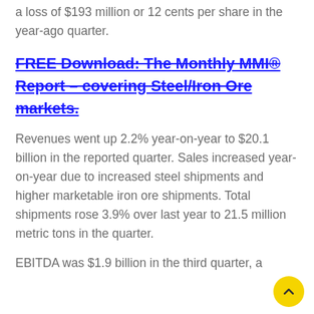a loss of $193 million or 12 cents per share in the year-ago quarter.
FREE Download: The Monthly MMI® Report – covering Steel/Iron Ore markets.
Revenues went up 2.2% year-on-year to $20.1 billion in the reported quarter. Sales increased year-on-year due to increased steel shipments and higher marketable iron ore shipments. Total shipments rose 3.9% over last year to 21.5 million metric tons in the quarter.
EBITDA was $1.9 billion in the third quarter, a